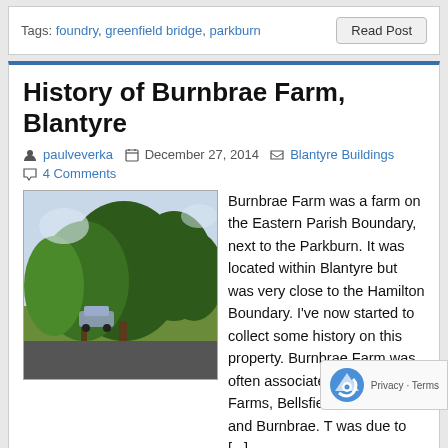Tags: foundry, greenfield bridge, parkburn
History of Burnbrae Farm, Blantyre
paulveverka  December 27, 2014  Blantyre Buildings  4 Comments
[Figure (photo): Photo of trees and a grassy area with a car parked, taken from a road, depicting the area near Burnbrae Farm, Blantyre.]
Burnbrae Farm was a farm on the Eastern Parish Boundary, next to the Parkburn. It was located within Blantyre but was very close to the Hamilton Boundary. I've now started to collect some history on this property. Burnbrae Farm was often associated with a trio of Farms, Bellsfield, Birdsfield and Burnbrae. T was due to [...]
Tags: atkinson, burnbrae farm, craig, john craig,